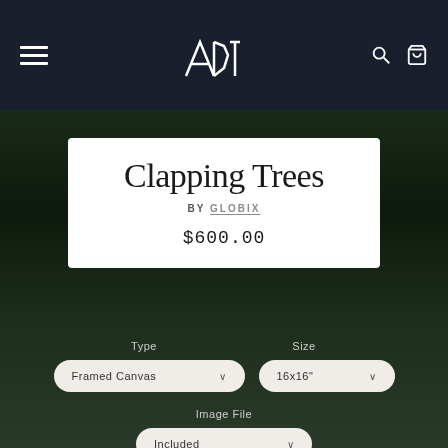Navigation header with hamburger menu, ADT logo, search and cart icons
Clapping Trees
BY GLOBIX
$600.00
Type
Size
Framed Canvas
16x16"
Image File
Included